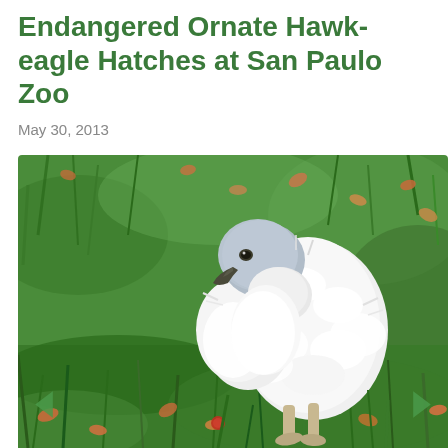Endangered Ornate Hawk-eagle Hatches at San Paulo Zoo
May 30, 2013
[Figure (photo): A fluffy white hawk-eagle chick standing on green grass with scattered autumn leaves in the background. The chick has a blue-gray head with a hooked dark beak and is covered in soft white down feathers.]